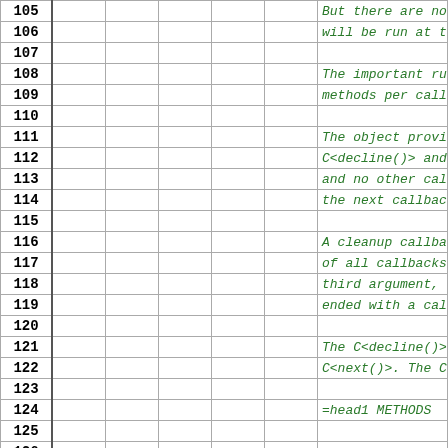| Line | Col1 | Col2 | Col3 | Col4 | Col5 | Text |
| --- | --- | --- | --- | --- | --- | --- |
| 105 |  |  |  |  |  | But there are no o |
| 106 |  |  |  |  |  | will be run at the |
| 107 |  |  |  |  |  |  |
| 108 |  |  |  |  |  | The important rule |
| 109 |  |  |  |  |  | methods per callba |
| 110 |  |  |  |  |  |  |
| 111 |  |  |  |  |  | The object provide |
| 112 |  |  |  |  |  | C<decline()> and C |
| 113 |  |  |  |  |  | and no other callb |
| 114 |  |  |  |  |  | the next callback |
| 115 |  |  |  |  |  |  |
| 116 |  |  |  |  |  | A cleanup callback |
| 117 |  |  |  |  |  | of all callbacks, |
| 118 |  |  |  |  |  | third argument, a |
| 119 |  |  |  |  |  | ended with a call |
| 120 |  |  |  |  |  |  |
| 121 |  |  |  |  |  | The C<decline()> m |
| 122 |  |  |  |  |  | C<next()>. The C<d |
| 123 |  |  |  |  |  |  |
| 124 |  |  |  |  |  | =head1 METHODS |
| 125 |  |  |  |  |  |  |
| 126 |  |  |  |  |  | =over |